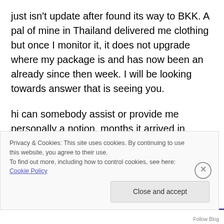just isn't update after found its way to BKK. A pal of mine in Thailand delivered me clothing but once I monitor it, it does not upgrade where my package is and has now been an already since then week. I will be looking towards answer that is seeing you.
hi can somebody assist or provide me personally a notion. months it arrived in bangkok it was hold by the thai customs asking for documents FDA approved Thailand and import license ago i tried sending my products from the philippines which are cosmetics like soap,lotion and
Privacy & Cookies: This site uses cookies. By continuing to use this website, you agree to their use.
To find out more, including how to control cookies, see here: Cookie Policy
Close and accept